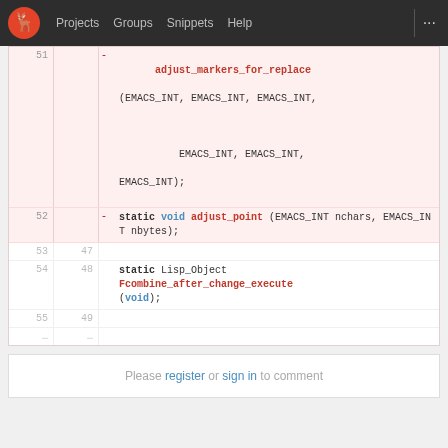Projects  Groups  Snippets  Help  ...
[Figure (screenshot): GitLab code diff view showing removed lines 51-52 with adjust_markers_for_replace and adjust_point function declarations, and lines 53-55/47-49 with Fcombine_after_change_execute declaration]
Please register or sign in to comment